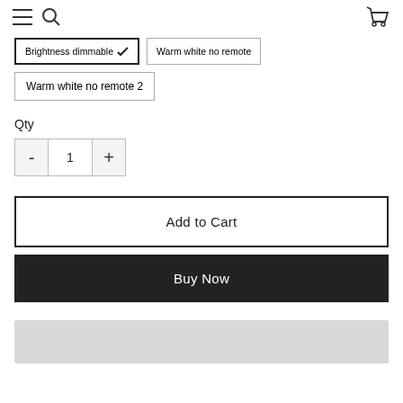Navigation header with hamburger menu, search icon, and cart icon
Brightness dimmable (selected with checkmark)
Warm white no remote
Warm white no remote 2
Qty
- 1 +
Add to Cart
Buy Now
[Figure (other): Grey placeholder bar at the bottom of the page]